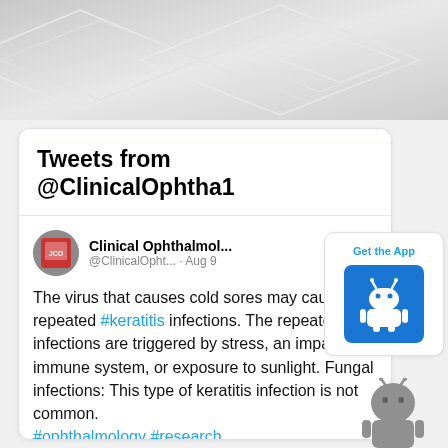[Figure (illustration): Gray decorative banner with overlapping geometric diamond/square line patterns on a gradient gray background]
Tweets from @ClinicalOphtha1
[Figure (screenshot): Tweet from Clinical Ophthalmol... @ClinicalOpht... · Aug 9. Text: The virus that causes cold sores may cause repeated #keratitis infections. The repeated infections are triggered by stress, an impaired immune system, or exposure to sunlight. Fungal infections: This type of keratitis infection is not common. #ophthalmology #research #openaccess]
[Figure (illustration): Get the App button with Android logo on blue background]
[Figure (illustration): Gray Android robot figure at bottom right]